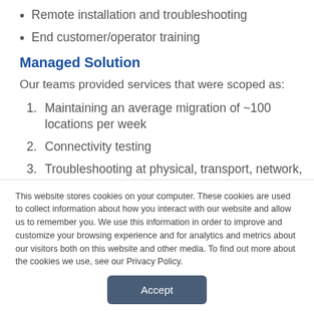Remote installation and troubleshooting
End customer/operator training
Managed Solution
Our teams provided services that were scoped as:
1. Maintaining an average migration of ~100 locations per week
2. Connectivity testing
3. Troubleshooting at physical, transport, network,
This website stores cookies on your computer. These cookies are used to collect information about how you interact with our website and allow us to remember you. We use this information in order to improve and customize your browsing experience and for analytics and metrics about our visitors both on this website and other media. To find out more about the cookies we use, see our Privacy Policy.
Accept